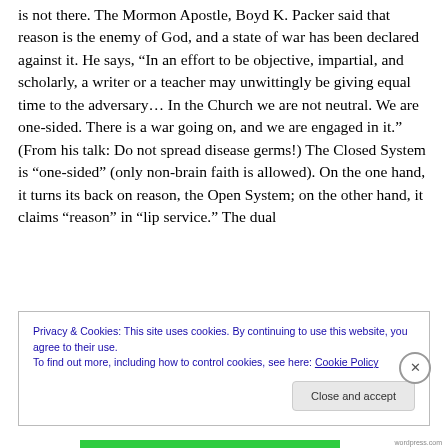is not there. The Mormon Apostle, Boyd K. Packer said that reason is the enemy of God, and a state of war has been declared against it. He says, “In an effort to be objective, impartial, and scholarly, a writer or a teacher may unwittingly be giving equal time to the adversary… In the Church we are not neutral. We are one-sided. There is a war going on, and we are engaged in it.” (From his talk: Do not spread disease germs!) The Closed System is “one-sided” (only non-brain faith is allowed). On the one hand, it turns its back on reason, the Open System; on the other hand, it claims “reason” in “lip service.” The dual
Privacy & Cookies: This site uses cookies. By continuing to use this website, you agree to their use.
To find out more, including how to control cookies, see here: Cookie Policy